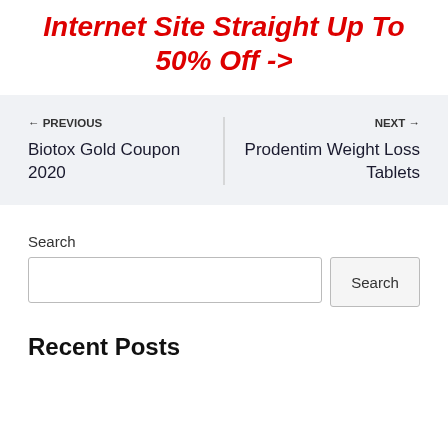Internet Site Straight Up To 50% Off ->
← PREVIOUS
Biotox Gold Coupon 2020
NEXT →
Prodentim Weight Loss Tablets
Search
Recent Posts